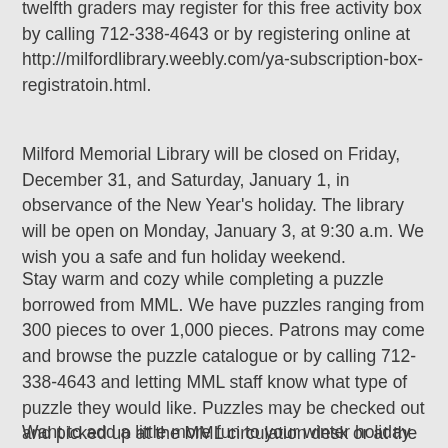twelfth graders may register for this free activity box by calling 712-338-4643 or by registering online at http://milfordlibrary.weebly.com/ya-subscription-box-registratoin.html.
Milford Memorial Library will be closed on Friday, December 31, and Saturday, January 1, in observance of the New Year's holiday.  The library will be open on Monday, January 3, at 9:30 a.m. We wish you a safe and fun holiday weekend.
Stay warm and cozy while completing a puzzle borrowed from MML. We have puzzles ranging from 300 pieces to over 1,000 pieces. Patrons may come and browse the puzzle catalogue or by calling 712-338-4643 and letting MML staff know what type of puzzle they would like.  Puzzles may be checked out and picked up at the MML circulation desk or at the drive-up window during normal operating hours.
Want to add a little more fun to your winter holiday events?